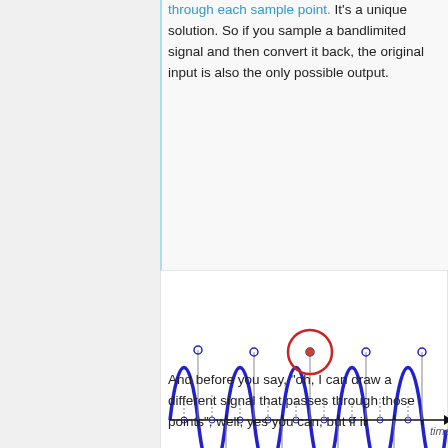through each sample point. It's a unique solution. So if you sample a bandlimited signal and then convert it back, the original input is also the only possible output.
[Figure (illustration): Top: A blue sinusoidal wave with sample points marked (small circles) and vertical gray lines. One peak is highlighted with a red circle. Axis labeled 'time'. Bottom: Frequency domain plot showing a blue-shaded bell curve with a pink/red vertical bar at the peak, a hatched red area to the right labeled 'Nyquist frequency', and axis labeled 'frequency'.]
And before you say, "oh, I can draw a different signal that passes through those points", well, yes you can, but if it